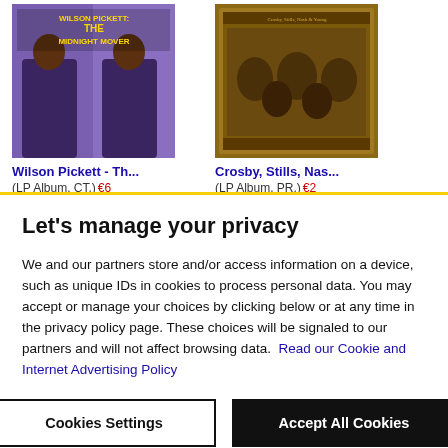[Figure (photo): Wilson Pickett - The Midnight Mover album cover showing two images of Wilson Pickett in colorful outfit with yellow title text on purple background]
[Figure (photo): Crosby, Stills, Nash & Young album cover showing a sepia-toned group photo with ornate border]
Wilson Pickett - Th... (LP Album, CT.) €6
Crosby, Stills, Nas... (LP Album, PR.) €2
Let's manage your privacy
We and our partners store and/or access information on a device, such as unique IDs in cookies to process personal data. You may accept or manage your choices by clicking below or at any time in the privacy policy page. These choices will be signaled to our partners and will not affect browsing data. Read our Cookie and Internet Advertising Policy
Cookies Settings
Accept All Cookies